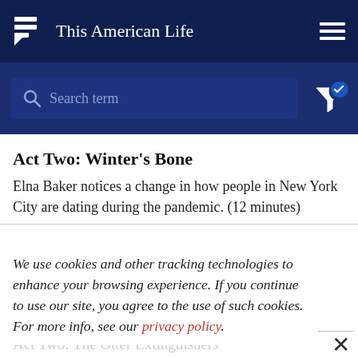This American Life
[Figure (screenshot): Search bar with placeholder text 'Search term' and filter icon with checkmark]
Act Two: Winter's Bone
Elna Baker notices a change in how people in New York City are dating during the pandemic. (12 minutes)
We use cookies and other tracking technologies to enhance your browsing experience. If you continue to use our site, you agree to the use of such cookies. For more info, see our privacy policy.
Act Two: The Otter Extinguishers
For years our group of people has been trying to push a giant boulder to the top of a hill, like Sisyphus. But in this